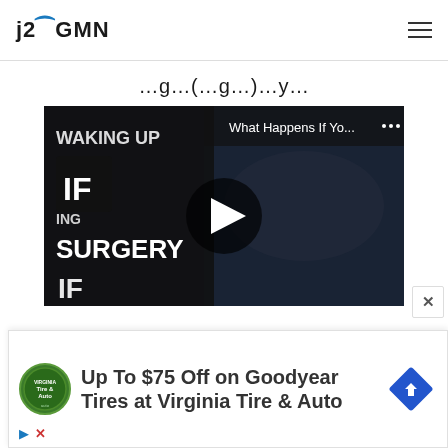j2GMN
(…g…y…)
[Figure (screenshot): YouTube video thumbnail showing a surgery scene with text 'WAKING UP', 'SURGERY', and 'IF' overlaid. Video title reads 'What Happens If Yo...' with a play button in the center.]
[Figure (infographic): Advertisement banner: Goodyear Tire & Auto logo circle on left, text 'Up To $75 Off on Goodyear Tires at Virginia Tire & Auto', blue navigation arrow diamond icon on right. Play and close icons at bottom left.]